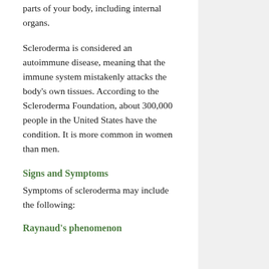parts of your body, including internal organs.
Scleroderma is considered an autoimmune disease, meaning that the immune system mistakenly attacks the body's own tissues. According to the Scleroderma Foundation, about 300,000 people in the United States have the condition. It is more common in women than men.
Signs and Symptoms
Symptoms of scleroderma may include the following:
Raynaud's phenomenon